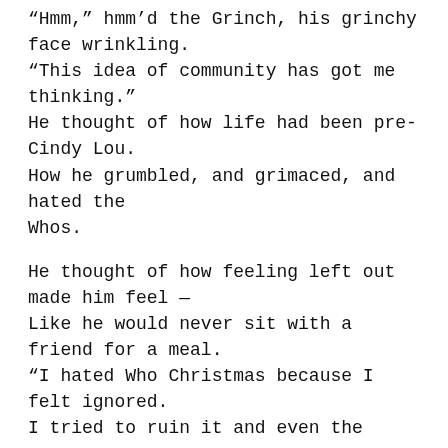“Hmm,” hmm’d the Grinch, his grinchy face wrinkling. “This idea of community has got me thinking.” He thought of how life had been pre-Cindy Lou. How he grumbled, and grimaced, and hated the Whos.
He thought of how feeling left out made him feel — Like he would never sit with a friend for a meal. “I hated Who Christmas because I felt ignored. I tried to ruin it and even the score.
“When you sang your Who songs, I was angry and rash. I stole all of your presents, your gifts, all your stash. I stole all of the food and the Christmas trees too. I was so very angry, my dear Cindy Lou.